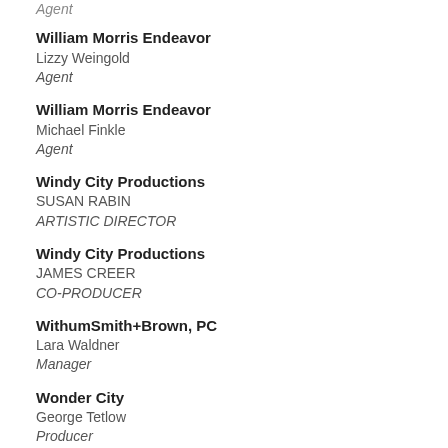Agent
William Morris Endeavor
Lizzy Weingold
Agent
William Morris Endeavor
Michael Finkle
Agent
Windy City Productions
SUSAN RABIN
ARTISTIC DIRECTOR
Windy City Productions
JAMES CREER
CO-PRODUCER
WithumSmith+Brown, PC
Lara Waldner
Manager
Wonder City
George Tetlow
Producer
Wonder City
Clifford Lee Johnson III